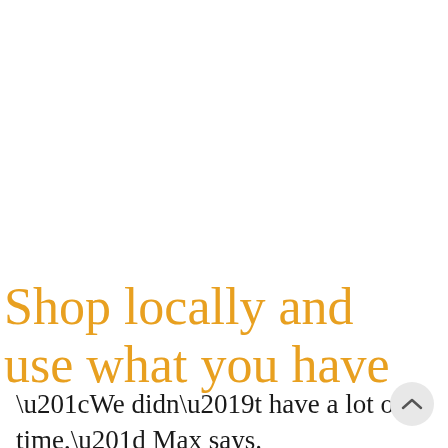Shop locally and use what you have
“We didn’t have a lot of time,” Max says. “Gabriel claims I asked her to find a dress in 30 minutes in